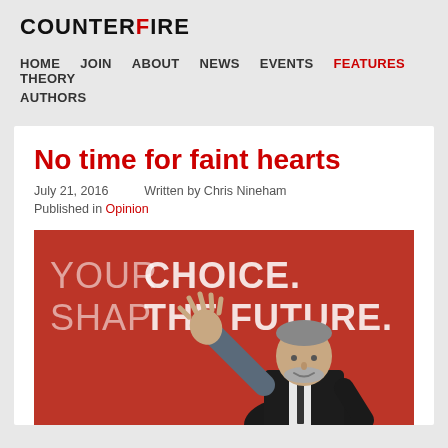COUNTERFIRE
HOME
JOIN
ABOUT
NEWS
EVENTS
FEATURES
THEORY
AUTHORS
No time for faint hearts
July 21, 2016   Written by Chris Nineham   Published in Opinion
[Figure (photo): Person in dark suit raising right hand against a red banner backdrop reading YOUR CHOICE. SHAPE THE FUTURE.]